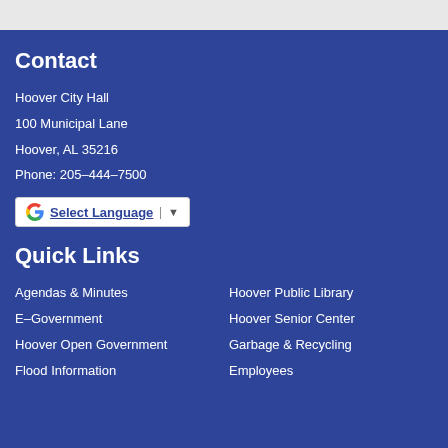Contact
Hoover City Hall
100 Municipal Lane
Hoover, AL 35216
Phone: 205-444-7500
[Figure (other): Google Translate widget with 'Select Language' text and dropdown arrow]
Quick Links
Agendas & Minutes
Hoover Public Library
E-Government
Hoover Senior Center
Hoover Open Government
Garbage & Recycling
Flood Information
Employees